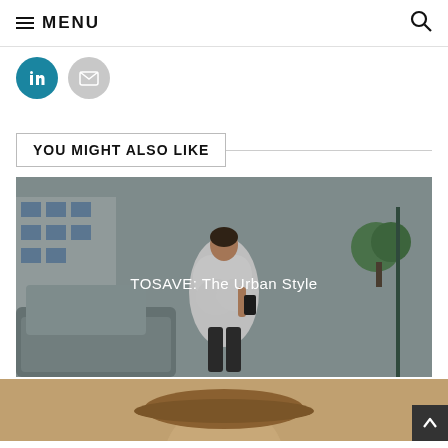MENU
[Figure (other): Social share buttons: LinkedIn (teal circle) and Email (gray circle)]
YOU MIGHT ALSO LIKE
[Figure (photo): Street fashion photo of a woman wearing a white fluffy jacket, holding a phone, walking outdoors near cars and buildings. Caption overlay: TOSAVE: The Urban Style]
[Figure (photo): Partial photo of a person visible at bottom of page]